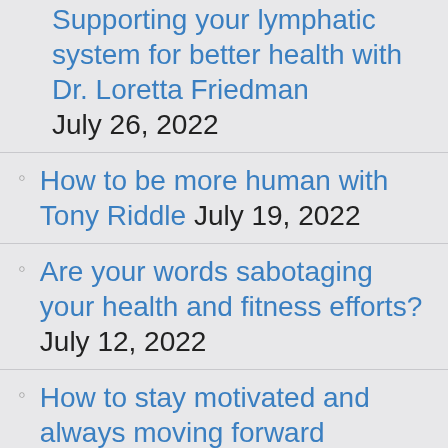Supporting your lymphatic system for better health with Dr. Loretta Friedman July 26, 2022
How to be more human with Tony Riddle July 19, 2022
Are your words sabotaging your health and fitness efforts? July 12, 2022
How to stay motivated and always moving forward